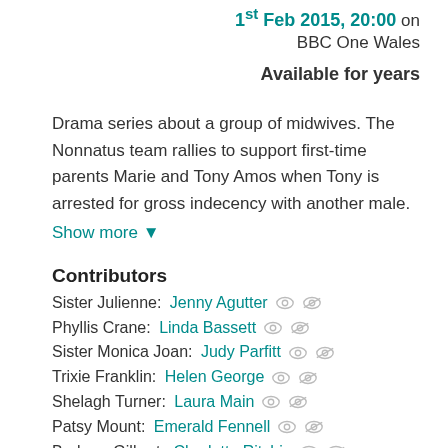1st Feb 2015, 20:00 on BBC One Wales
Available for years
Drama series about a group of midwives. The Nonnatus team rallies to support first-time parents Marie and Tony Amos when Tony is arrested for gross indecency with another male.
Show more ▼
Contributors
Sister Julienne: Jenny Agutter
Phyllis Crane: Linda Bassett
Sister Monica Joan: Judy Parfitt
Trixie Franklin: Helen George
Shelagh Turner: Laura Main
Patsy Mount: Emerald Fennell
Barbara Gilbert: Charlotte Ritchie
Sister Winifred: Victoria Yeates